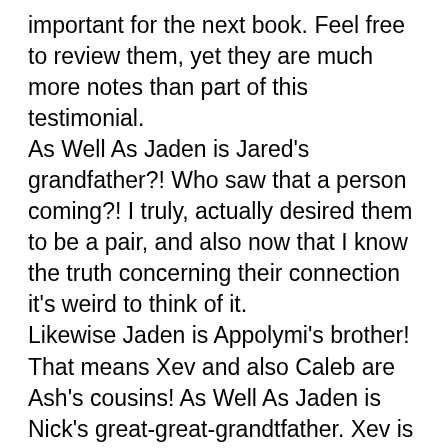important for the next book. Feel free to review them, yet they are much more notes than part of this testimonial. As Well As Jaden is Jared's grandfather?! Who saw that a person coming?! I truly, actually desired them to be a pair, and also now that I know the truth concerning their connection it's weird to think of it. Likewise Jaden is Appolymi's brother! That means Xev and also Caleb are Ash's cousins! As Well As Jaden is Nick's great-great-grandtfather. Xev is his great-grandfather. And Jared is his grandfather as well as Cherise's father. This family history is so freaking confusing. Does this indicates that Ash as well as Nick relate?! Oh god. My brain is starting to melt. Nick is feeling a little overloaded with all the possible futures he can see through the freshly